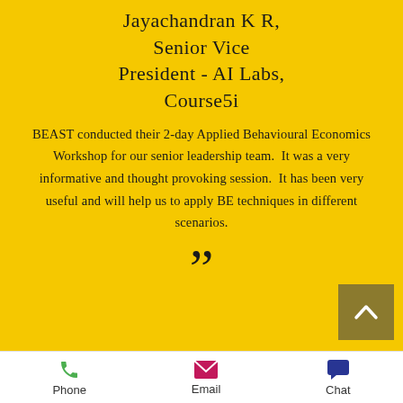Jayachandran K R, Senior Vice President - AI Labs, Course5i
BEAST conducted their 2-day Applied Behavioural Economics Workshop for our senior leadership team. It was a very informative and thought provoking session. It has been very useful and will help us to apply BE techniques in different scenarios.
Phone  Email  Chat